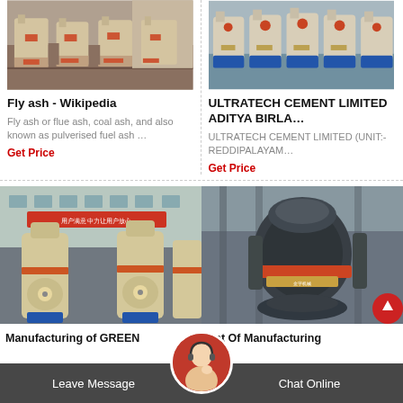[Figure (photo): Industrial heavy machinery (flattener/crusher machines) in a warehouse, cream/red colored equipment]
[Figure (photo): Industrial heavy machinery (crushers/grinders) on blue stands in a factory, cream/blue colored equipment]
Fly ash - Wikipedia
ULTRATECH CEMENT LIMITED ADITYA BIRLA...
Fly ash or flue ash, coal ash, and also known as pulverised fuel ash …
ULTRATECH CEMENT LIMITED (UNIT:-REDDIPALAYAM…
Get Price
Get Price
[Figure (photo): Large cream-colored industrial milling machines (Raymond mills) in a Chinese factory with signage]
[Figure (photo): Dark gray industrial vertical milling machine with orange ring accents in a factory]
Manufacturing of GREEN
Ppt Of Manufacturing
Leave Message
Chat Online